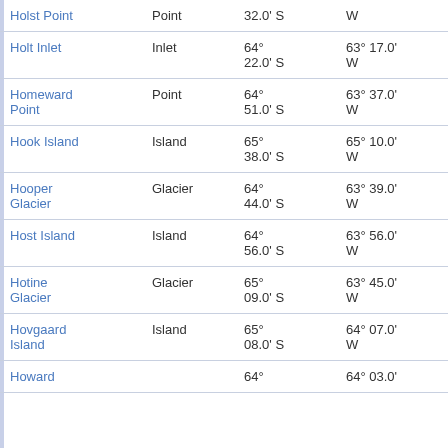| Name | Type | Latitude | Longitude | Other |
| --- | --- | --- | --- | --- |
| Holst Point | Point | 32.0' S | W | at 16 |
| Holt Inlet | Inlet | 64° 22.0' S | 63° 17.0' W | 67.3 at 45 |
| Homeward Point | Point | 64° 51.0' S | 63° 37.0' W | 31.2 at 10 |
| Hook Island | Island | 65° 38.0' S | 65° 10.0' W | 101.7 at 20 |
| Hooper Glacier | Glacier | 64° 44.0' S | 63° 39.0' W | 30.2 at 76 |
| Host Island | Island | 64° 56.0' S | 63° 56.0' W | 21.6 at 13 |
| Hotine Glacier | Glacier | 65° 09.0' S | 63° 45.0' W | 45.9 at 14 |
| Hovgaard Island | Island | 65° 08.0' S | 64° 07.0' W | 37.7 at 16 |
| Howard |  | 64° | 64° 03.0' | 5.0 b |